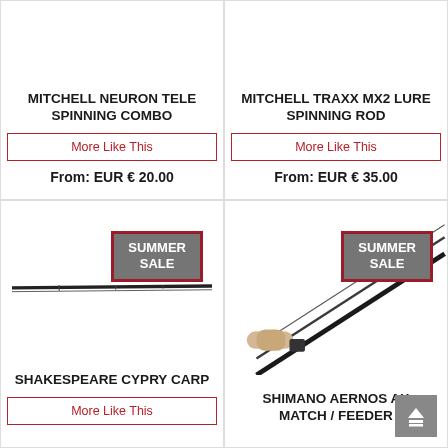MITCHELL NEURON TELE SPINNING COMBO
More Like This
From: EUR € 20.00
MITCHELL TRAXX MX2 LURE SPINNING ROD
More Like This
From: EUR € 35.00
[Figure (photo): SUMMER SALE badge and fishing rod product image - Shakespeare Cypry Carp]
SHAKESPEARE CYPRY CARP
More Like This
[Figure (photo): SUMMER SALE badge and diagonal fishing rod product image - Shimano Aernos AX Match / Feeder]
SHIMANO AERNOS AX MATCH / FEEDER